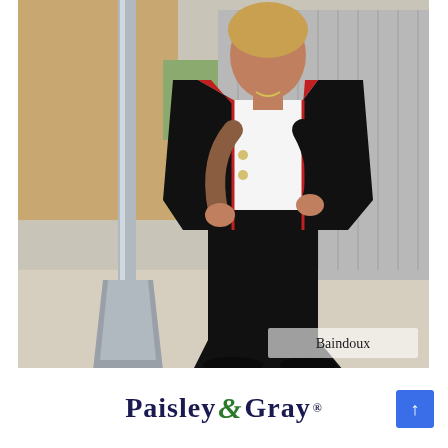[Figure (photo): A person wearing a black blazer with red trim over a white tank top and black flared pants, standing on a sidewalk next to a metal pole. In the bottom right corner of the photo, the text 'Baindoux' is displayed.]
Paisley & Gray®